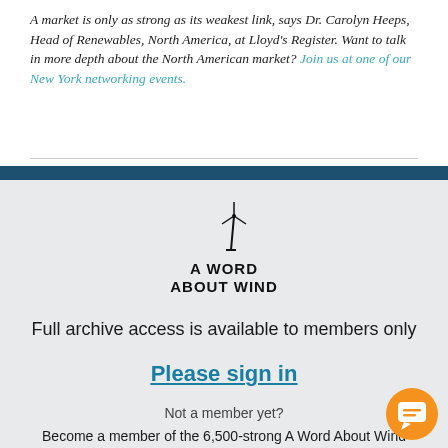A market is only as strong as its weakest link, says Dr. Carolyn Heeps, Head of Renewables, North America, at Lloyd's Register. Want to talk in more depth about the North American market? Join us at one of our New York networking events.
[Figure (logo): A Word About Wind logo with wind turbine icon]
Full archive access is available to members only
Please sign in
Not a member yet?
Become a member of the 6,500-strong A Word About Wind